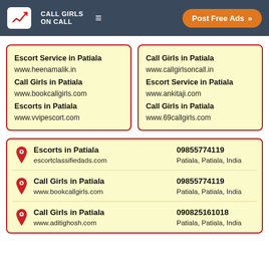CALL GIRLS ON CALL | Post Free Ads
Escort Service in Patiala
www.heenamalik.in
Call Girls in Patiala
www.bookcallgirls.com
Escorts in Patiala
www.vvipescort.com
Call Girls in Patiala
www.callgirlsoncall.in
Escort Service in Patiala
www.ankitaji.com
Call Girls in Patiala
www.69callgirls.com
Escorts in Patiala | escortclassifiedads.com | 09855774119 | Patiala, Patiala, India
Call Girls in Patiala | www.bookcallgirls.com | 09855774119 | Patiala, Patiala, India
Call Girls in Patiala | www.aditighosh.com | 090825161018 | Patiala, Patiala, India